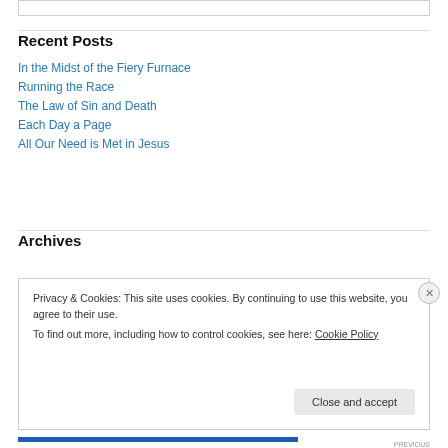Recent Posts
In the Midst of the Fiery Furnace
Running the Race
The Law of Sin and Death
Each Day a Page
All Our Need is Met in Jesus
Archives
Privacy & Cookies: This site uses cookies. By continuing to use this website, you agree to their use. To find out more, including how to control cookies, see here: Cookie Policy
Close and accept